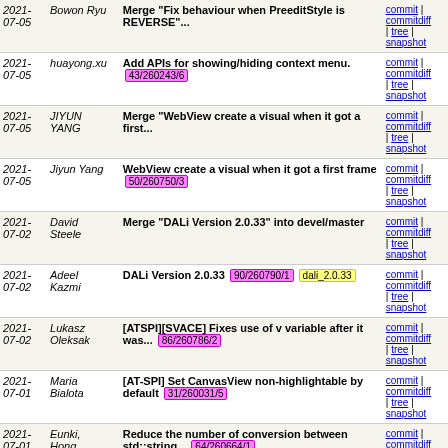| Date | Author | Message | Links |
| --- | --- | --- | --- |
| 2021-07-05 | Bowon Ryu | Merge "Fix behaviour when PreeditStyle is REVERSE"... | commit | commitdiff | tree | snapshot |
| 2021-07-05 | huayong.xu | Add APIs for showing/hiding context menu. 43/260243/6 | commit | commitdiff | tree | snapshot |
| 2021-07-05 | JIYUN YANG | Merge "WebView create a visual when it got a first... | commit | commitdiff | tree | snapshot |
| 2021-07-05 | Jiyun Yang | WebView create a visual when it got a first frame 50/260750/3 | commit | commitdiff | tree | snapshot |
| 2021-07-02 | David Steele | Merge "DALi Version 2.0.33" into devel/master | commit | commitdiff | tree | snapshot |
| 2021-07-02 | Adeel Kazmi | DALi Version 2.0.33 90/260790/1 dali_2.0.33 | commit | commitdiff | tree | snapshot |
| 2021-07-02 | Lukasz Oleksak | [ATSPI][SVACE] Fixes use of v variable after it was... 86/260786/2 | commit | commitdiff | tree | snapshot |
| 2021-07-01 | Maria Bialota | [AT-SPI] Set CanvasView non-highlightable by default 31/260031/5 | commit | commitdiff | tree | snapshot |
| 2021-07-01 | Eunki, Hong | Reduce the number of conversion between std::string... 64/260664/1 | commit | commitdiff | tree | snapshot |
| 2021-07-01 | Bowon Ryu | Fix behaviour when PreeditStyle is REVERSE 15/260515/7 | commit | commitdiff | tree | snapshot |